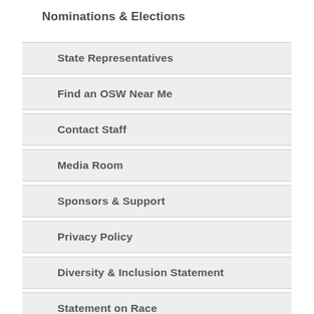Nominations & Elections
State Representatives
Find an OSW Near Me
Contact Staff
Media Room
Sponsors & Support
Privacy Policy
Diversity & Inclusion Statement
Statement on Race
AOSW Statement of Policy Principles